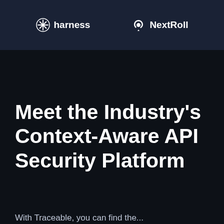[Figure (logo): Harness logo with diamond/cross icon and text 'harness' in white]
[Figure (logo): NextRoll logo with stylized S/spiral icon and text 'NextRoll' in white]
Meet the Industry's Context-Aware API Security Platform
With Traceable, you can find the...